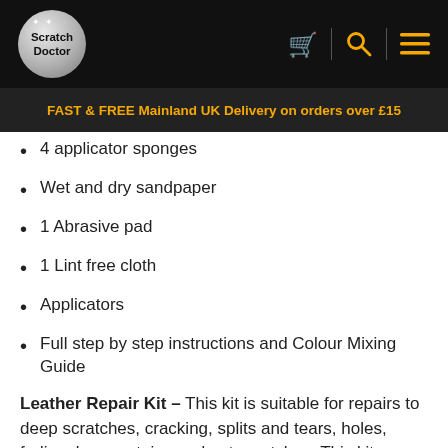Scratch Doctor — header with logo, cart, search, and menu icons
FAST & FREE Mainland UK Delivery on orders over £15
4 applicator sponges
Wet and dry sandpaper
1 Abrasive pad
1 Lint free cloth
Applicators
Full step by step instructions and Colour Mixing Guide
Leather Repair Kit – This kit is suitable for repairs to deep scratches, cracking, splits and tears, holes, fading, burns, stains and pet scratches. This kit Includes: